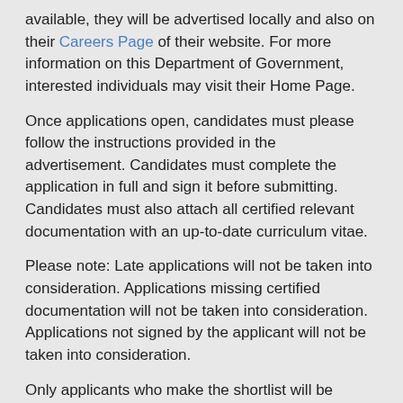available, they will be advertised locally and also on their Careers Page of their website. For more information on this Department of Government, interested individuals may visit their Home Page.
Once applications open, candidates must please follow the instructions provided in the advertisement. Candidates must complete the application in full and sign it before submitting. Candidates must also attach all certified relevant documentation with an up-to-date curriculum vitae.
Please note: Late applications will not be taken into consideration. Applications missing certified documentation will not be taken into consideration. Applications not signed by the applicant will not be taken into consideration.
Only applicants who make the shortlist will be contacted, thus, if the Department has not contacted you within three months after the closing date, please accept your application as being unsuccessful.